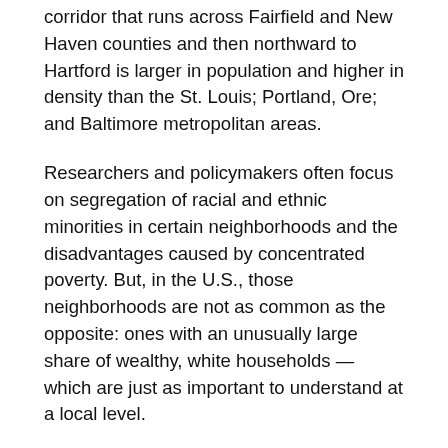corridor that runs across Fairfield and New Haven counties and then northward to Hartford is larger in population and higher in density than the St. Louis; Portland, Ore; and Baltimore metropolitan areas.
Researchers and policymakers often focus on segregation of racial and ethnic minorities in certain neighborhoods and the disadvantages caused by concentrated poverty. But, in the U.S., those neighborhoods are not as common as the opposite: ones with an unusually large share of wealthy, white households — which are just as important to understand at a local level.
HOW DID WE FIND THESE SEGREGATED POOR AND RICH NEIGHBORHOODS?
The Minnesota researchers found concentrated affluence by looking for neighborhoods where at least 20 percent of the population is white and the